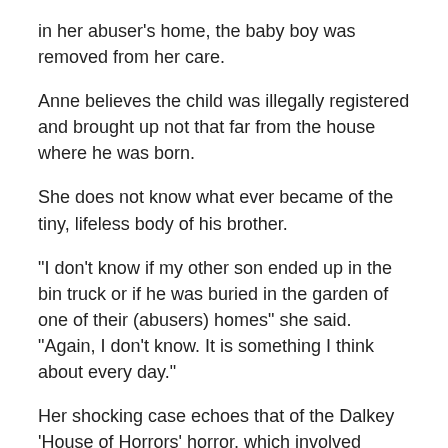in her abuser's home, the baby boy was removed from her care.
Anne believes the child was illegally registered and brought up not that far from the house where he was born.
She does not know what ever became of the tiny, lifeless body of his brother.
“I don’t know if my other son ended up in the bin truck or if he was buried in the garden of one of their (abusers) homes” she said. “Again, I don’t know. It is something I think about every day.”
Her shocking case echoes that of the Dalkey ‘House of Horrors’ horror, which involved Cynthia Owen who gave birth to a baby girl when she was a child.